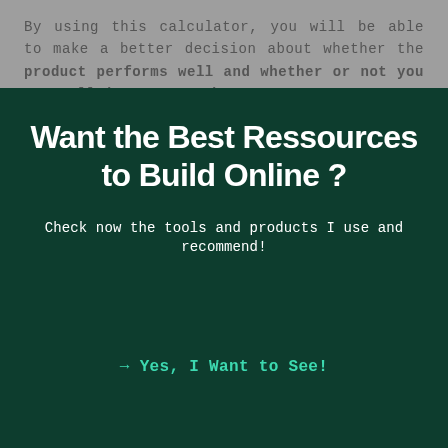By using this calculator, you will be able to make a better decision about whether the product performs well and whether or not you can sell it on your shop!
[Figure (other): Dark green modal/popup overlay with headline 'Want the Best Ressources to Build Online ?', subtitle 'Check now the tools and products I use and recommend!', and a call-to-action link '→ Yes, I Want to See!' in teal/cyan color.]
Want the Best Ressources to Build Online ?
Check now the tools and products I use and recommend!
→ Yes, I Want to See!
Affiliate Policy | Privacy Blog | About | Disclaimer | Amazon FBA Tool | Affiliate Program 2020 | Income Disclosure (PDF)